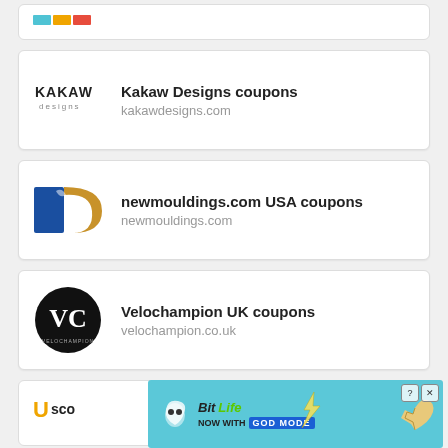[Figure (logo): Partial card at top showing cropped logo]
[Figure (logo): Kakaw Designs logo - text logo saying KAKAW designs]
Kakaw Designs coupons
kakawdesigns.com
[Figure (logo): newmouldings.com logo - blue and gold letter m]
newmouldings.com USA coupons
newmouldings.com
[Figure (logo): Velochampion logo - VC monogram in black circle]
Velochampion UK coupons
velochampion.co.uk
[Figure (screenshot): BitLife ad banner - NOW WITH GOD MODE]
U sco...